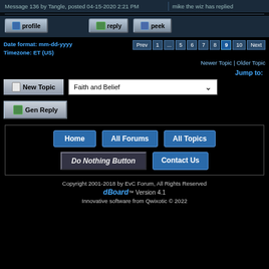Message 136 by Tangle, posted 04-15-2020 2:21 PM
mike the wiz has replied
profile   reply   peek
Date format: mm-dd-yyyy
Timezone: ET (US)
Prev 1 ... 5 6 7 8 9 10 Next
Newer Topic | Older Topic
Jump to:
Faith and Belief
New Topic
Gen Reply
Home   All Forums   All Topics   Do Nothing Button   Contact Us
Copyright 2001-2018 by EvC Forum, All Rights Reserved
dBoard™ Version 4.1
Innovative software from Qwixotic © 2022